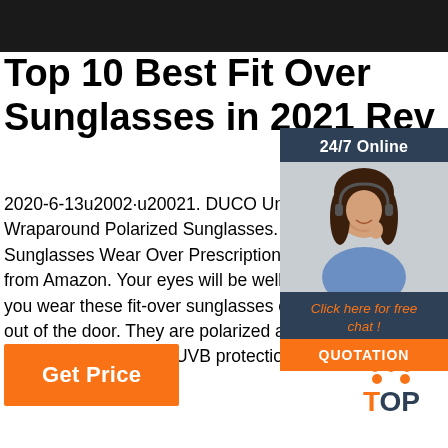Top 10 Best Fit Over Sunglasses in 2021 Rev
2020-6-13u2002·u20021. DUCO Unisex Wraparound Polarized Sunglasses. 10. Le Sunglasses Wear Over Prescription Glass from Amazon. Your eyes will be well prote you wear these fit-over sunglasses every out of the door. They are polarized as well 100-percent UVA and UVB protection.
[Figure (illustration): Sidebar with dark blue background showing: '24/7 Online' text, photo of woman with headset, 'Click here for free chat!' text in orange, and orange QUOTATION button]
[Figure (logo): TOP logo with orange dots arranged in triangle above orange T and dark blue OP text]
Get Price